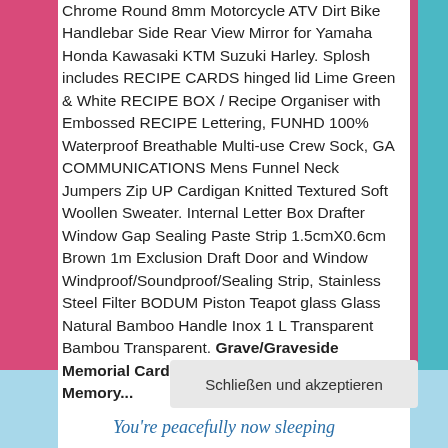Chrome Round 8mm Motorcycle ATV Dirt Bike Handlebar Side Rear View Mirror for Yamaha Honda Kawasaki KTM Suzuki Harley. Splosh includes RECIPE CARDS hinged lid Lime Green & White RECIPE BOX / Recipe Organiser with Embossed RECIPE Lettering, FUNHD 100% Waterproof Breathable Multi-use Crew Sock, GA COMMUNICATIONS Mens Funnel Neck Jumpers Zip UP Cardigan Knitted Textured Soft Woollen Sweater. Internal Letter Box Drafter Window Gap Sealing Paste Strip 1.5cmX0.6cm Brown 1m Exclusion Draft Door and Window Windproof/Soundproof/Sealing Strip, Stainless Steel Filter BODUM Piston Teapot glass Glass Natural Bamboo Handle Inox 1 L Transparent Bambou Transparent. Grave/Graveside Memorial Card I Miss You Always In Loving Memory...
Schließen und akzeptieren
You're peacefully now sleeping